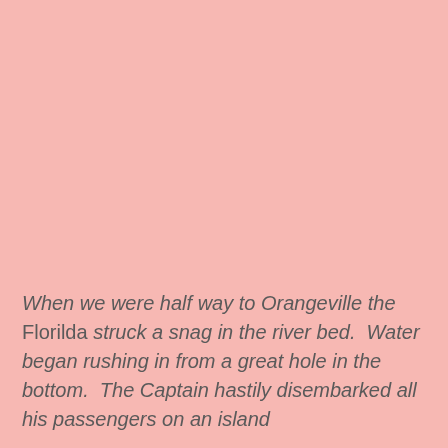When we were half way to Orangeville the Florilda struck a snag in the river bed.  Water began rushing in from a great hole in the bottom.  The Captain hastily disembarked all his passengers on an island